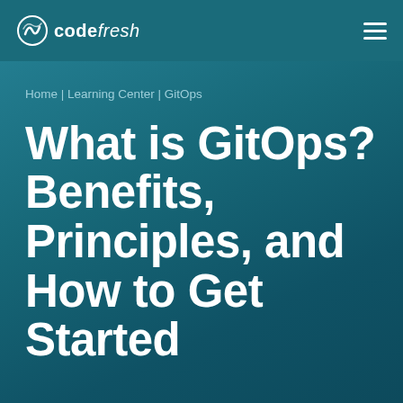codefresh
Home | Learning Center | GitOps
What is GitOps? Benefits, Principles, and How to Get Started